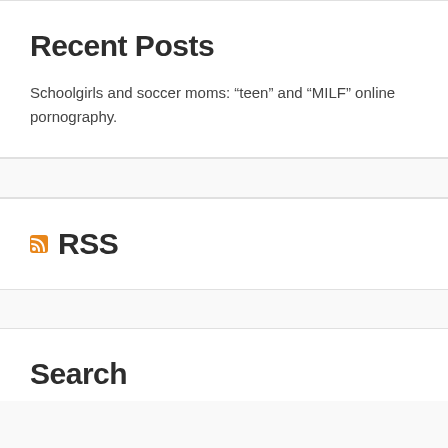Recent Posts
Schoolgirls and soccer moms: “teen” and “MILF” online pornography.
RSS
Search